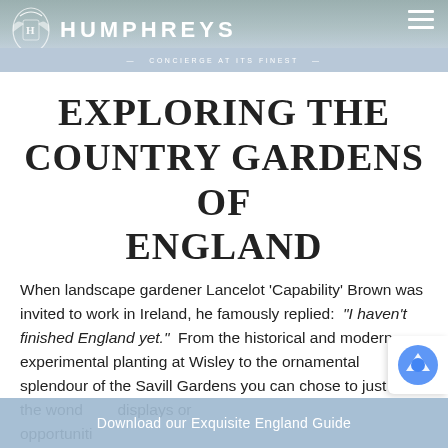HUMPHREYS — CONCIERGE AT ITS FINEST
EXPLORING THE COUNTRY GARDENS OF ENGLAND
When landscape gardener Lancelot 'Capability' Brown was invited to work in Ireland, he famously replied: "I haven't finished England yet." From the historical and modern experimental planting at Wisley to the ornamental splendour of the Savill Gardens you can chose to just enjoy the wonderful displays or opportuniti...
Download our Exquisite England Guide